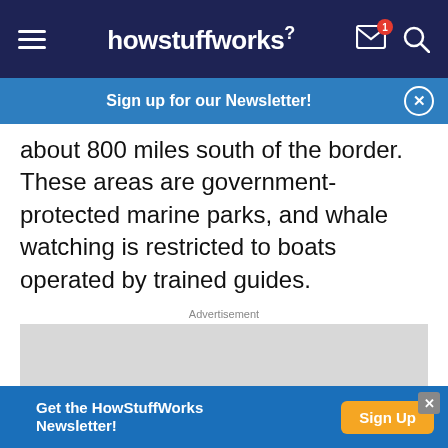howstuffworks
Sign up for our Newsletter!
about 800 miles south of the border. These areas are government-protected marine parks, and whale watching is restricted to boats operated by trained guides.
Advertisement
[Figure (other): Gray advertisement placeholder box]
Get the HowStuffWorks Newsletter!